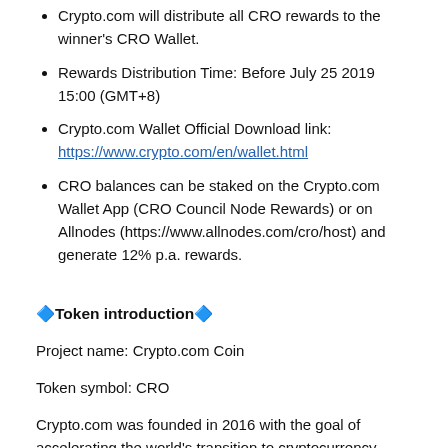Crypto.com will distribute all CRO rewards to the winner's CRO Wallet.
Rewards Distribution Time: Before July 25 2019 15:00 (GMT+8)
Crypto.com Wallet Official Download link: https://www.crypto.com/en/wallet.html
CRO balances can be staked on the Crypto.com Wallet App (CRO Council Node Rewards) or on Allnodes (https://www.allnodes.com/cro/host) and generate 12% p.a. rewards.
🔷Token introduction🔷
Project name: Crypto.com Coin
Token symbol: CRO
Crypto.com was founded in 2016 with the goal of accelerating the world's transition to cryptocurrency. Details